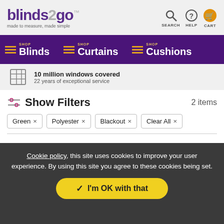[Figure (logo): blinds2go logo with tagline 'made to measure, made simple' and navigation icons for SEARCH, HELP, CART]
[Figure (infographic): Purple navigation bar with SHOP Blinds, SHOP Curtains, SHOP Cushions menu items]
10 million windows covered
22 years of exceptional service
Show Filters   2 items
Green ×   Polyester ×   Blackout ×   Clear All ×
Cookie policy, this site uses cookies to improve your user experience. By using this site you agree to these cookies being set.
I'm OK with that